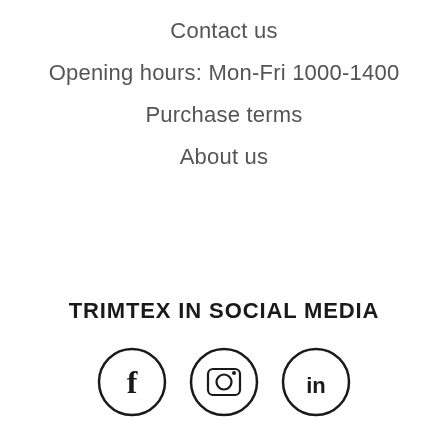Contact us
Opening hours: Mon-Fri 1000-1400
Purchase terms
About us
TRIMTEX IN SOCIAL MEDIA
[Figure (illustration): Three social media icons in circles: Facebook (f), Instagram (camera), LinkedIn (in)]